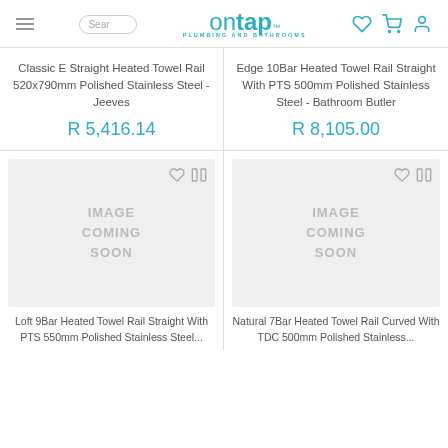on tap PLUMBING AND BATHROOMS - website header with search, logo, and nav icons
Classic E Straight Heated Towel Rail 520x790mm Polished Stainless Steel - Jeeves
R 5,416.14
Edge 10Bar Heated Towel Rail Straight With PTS 500mm Polished Stainless Steel - Bathroom Butler
R 8,105.00
[Figure (photo): Image Coming Soon placeholder for Loft 9Bar Heated Towel Rail product]
[Figure (photo): Image Coming Soon placeholder for Natural 7Bar Heated Towel Rail product]
Loft 9Bar Heated Towel Rail Straight With PTS 550mm Polished Stainless Steel...
Natural 7Bar Heated Towel Rail Curved With TDC 500mm Polished Stainless...